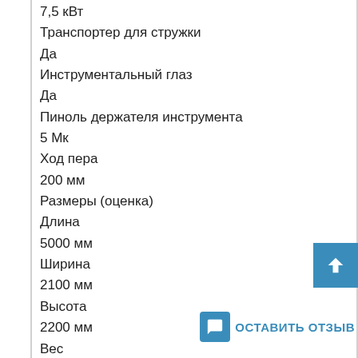7,5 кВт
Транспортер для стружки
Да
Инструментальный глаз
Да
Пиноль держателя инструмента
5 Мк
Ход пера
200 мм
Размеры (оценка)
Длина
5000 мм
Ширина
2100 мм
Высота
2200 мм
Вес
8600 кг
Обратите внимание: информация на этой